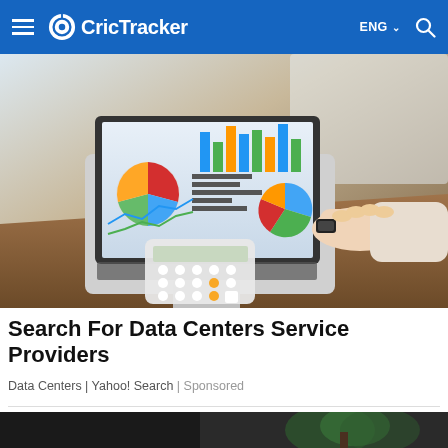CricTracker — ENG — Search
[Figure (photo): Person using laptop displaying data charts (bar chart, pie charts, line chart) with a calculator on a wooden desk]
Search For Data Centers Service Providers
Data Centers | Yahoo! Search | Sponsored
[Figure (photo): Partial view of a second image strip showing dark background with green plant element]